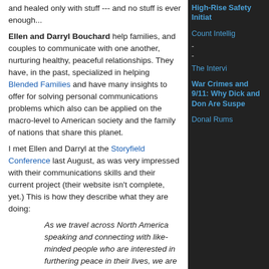and healed only with stuff --- and no stuff is ever enough...
Ellen and Darryl Bouchard help families, and couples to communicate with one another, nurturing healthy, peaceful relationships. They have, in the past, specialized in helping Blended Families and have many insights to offer for solving personal communications problems which also can be applied on the macro-level to American society and the family of nations that share this planet.
I met Ellen and Darryl at the Storyfield Conference last August, as was very impressed with their communications skills and their current project (their website isn't complete, yet.) This is how they describe what they are doing:
As we travel across North America speaking and connecting with like-minded people who are interested in furthering peace in their lives, we are struck by how many of these individuals are HeartHeroes -- people taking deliberate action to create peace in the world.
Along with our mission to share our tools for peaceful relationships with others, we are also committed to sharing the peaceful endeavors of others with the
High-Rise Safety Initiat
Count Intellig
-
-
The Intervi
War Crimes and 9/11: Why Dick and Don Are Suspe
Donal Rums